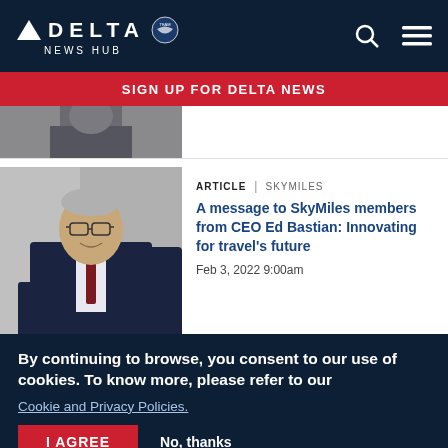DELTA NEWS HUB
SIGN UP FOR DELTA NEWS
[Figure (photo): Partial photo of a person in a suit, cropped at top]
ARTICLE | SKYMILES
[Figure (photo): Photo of CEO Ed Bastian in a dark suit, smiling, wearing glasses]
A message to SkyMiles members from CEO Ed Bastian: Innovating for travel's future
Feb 3, 2022 9:00am
By continuing to browse, you consent to our use of cookies. To know more, please refer to our
Cookie and Privacy Policies.
I AGREE
No, thanks